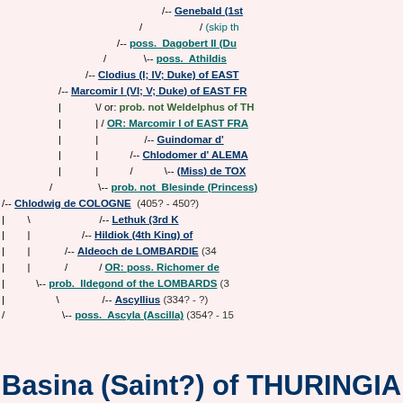[Figure (other): Genealogical pedigree tree showing ancestry of Basina (Saint?) of THURINGIA, with dashed lines connecting ancestors including Genebald (1st), Dagobert II, Athildis, Clodius (I; IV; Duke) of EAST, Marcomir I (VI; V; Duke) of EAST FR, Weldelphus of TH, OR: Marcomir I of EAST FRA, Guindomar d', Chlodomer d' ALEMA, (Miss) de TOX, prob. not Blesinde (Princess), Chlodwig de COLOGNE (405?-450?), Lethuk (3rd K), Hildiok (4th King) of, Aldeoch de LOMBARDIE (34), OR: poss. Richomer de, prob. Ildegond of the LOMBARDS (3), Ascyllius (334?-?), poss. Ascyla (Ascilla) (354?-15)]
Basina (Saint?) of THURINGIA